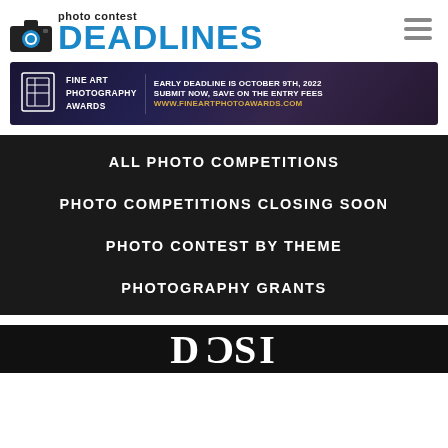photo contest DEADLINES
[Figure (illustration): Fine Art Photography Awards banner ad: logo with geometric camera icon, text 'FINE ART PHOTOGRAPHY AWARDS', 'EARLY DEADLINE IS OCTOBER 9TH, 2022', 'SUBMIT NOW, SAVE ON THE ENTRY FEES', 'WWW.FINEARTPHOTOAWARDS.COM']
ALL PHOTO COMPETITIONS
PHOTO COMPETITIONS CLOSING SOON
PHOTO CONTEST BY THEME
PHOTOGRAPHY GRANTS
[Figure (logo): Partial bottom banner showing white text logo (appears to be 'DCCI' or similar) on black background]